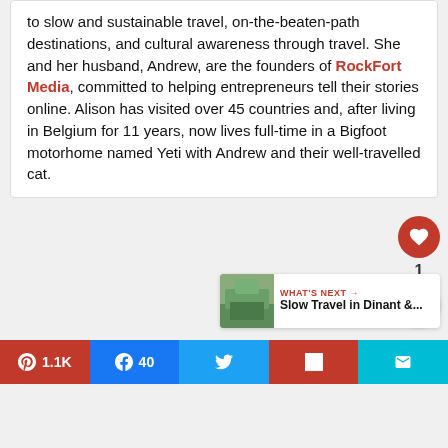to slow and sustainable travel, on-the-beaten-path destinations, and cultural awareness through travel. She and her husband, Andrew, are the founders of RockFort Media, committed to helping entrepreneurs tell their stories online. Alison has visited over 45 countries and, after living in Belgium for 11 years, now lives full-time in a Bigfoot motorhome named Yeti with Andrew and their well-travelled cat.
[Figure (other): Social interaction panel with heart/like button showing count of 1, and a share button]
WHAT'S NEXT → Slow Travel in Dinant &...
[Figure (other): Bottom share bar with Pinterest 1.1K, Facebook 40, Twitter, Flipboard, and Email buttons]